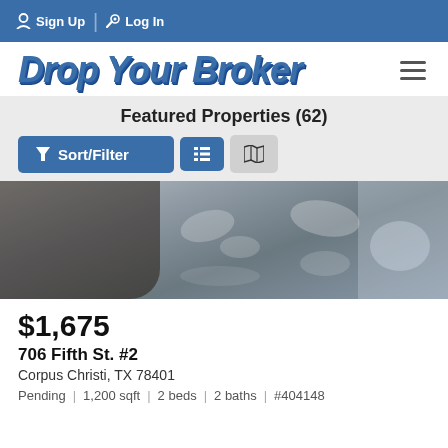Sign Up  Log In
Drop Your Broker
Featured Properties (62)
Sort/Filter [list view] [map view]
[Figure (photo): Property interior photo showing a garage or concrete floor with dappled light/shadow patterns]
$1,675
706 Fifth St. #2
Corpus Christi, TX 78401
Pending  |  1,200 sqft  |  2 beds  |  2 baths  |  #404148